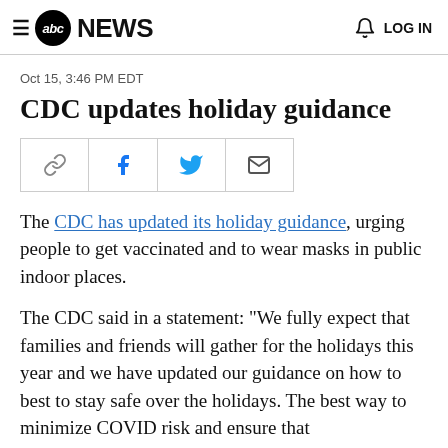≡ abc NEWS   🔔 LOG IN
Oct 15, 3:46 PM EDT
CDC updates holiday guidance
[Figure (other): Social share buttons bar with link, Facebook, Twitter, and email icons]
The CDC has updated its holiday guidance, urging people to get vaccinated and to wear masks in public indoor places.
The CDC said in a statement: "We fully expect that families and friends will gather for the holidays this year and we have updated our guidance on how to best to stay safe over the holidays. The best way to minimize COVID risk and ensure that